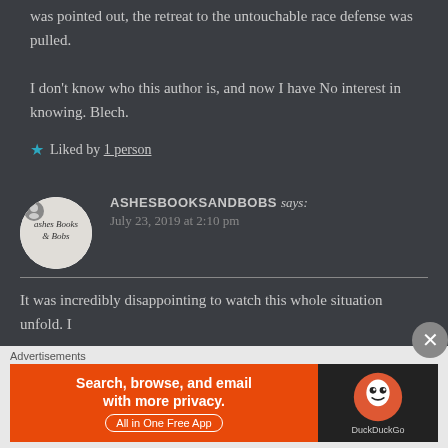was pointed out, the retreat to the untouchable race defense was pulled.
I don't know who this author is, and now I have No interest in knowing. Blech.
★ Liked by 1 person
ASHESBOOKSANDBOBS says: July 23, 2019 at 2:10 pm
It was incredibly disappointing to watch this whole situation unfold. I